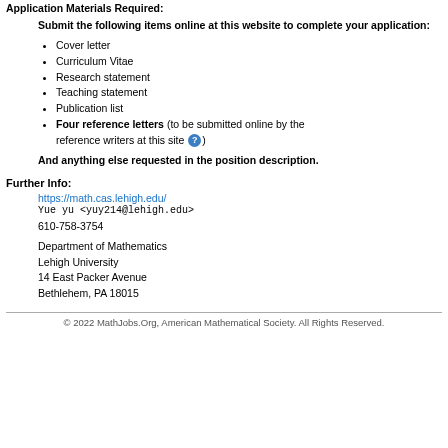Application Materials Required:
Submit the following items online at this website to complete your application:
Cover letter
Curriculum Vitae
Research statement
Teaching statement
Publication list
Four reference letters (to be submitted online by the reference writers at this site ?)
And anything else requested in the position description.
Further Info:
https://math.cas.lehigh.edu/
Yue yu <yuy214@lehigh.edu>
610-758-3754
Department of Mathematics
Lehigh University
14 East Packer Avenue
Bethlehem, PA 18015
© 2022 MathJobs.Org, American Mathematical Society. All Rights Reserved.